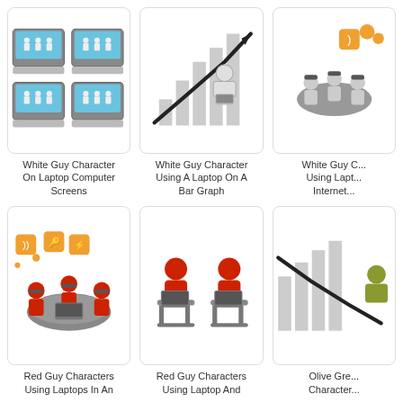[Figure (illustration): White guy character figures on laptop computer screens, four laptops arranged in a 2x2 grid]
White Guy Character On Laptop Computer Screens
[Figure (illustration): White guy character using a laptop on a bar graph with an upward trending line]
White Guy Character Using A Laptop On A Bar Graph
[Figure (illustration): White Guy Character Using Laptop and Internet - partial view, orange chat bubbles and grey figures around a table]
White Guy C... Using Lapt... Internet...
[Figure (illustration): Red guy characters using laptops in an internet/meeting scene with orange RSS feed icons and chat bubbles around a round table]
Red Guy Characters Using Laptops In An
[Figure (illustration): Red guy characters using laptop and another device, seated]
Red Guy Characters Using Laptop And
[Figure (illustration): Olive green character on a bar chart with declining line, partial view]
Olive Gre... Character...